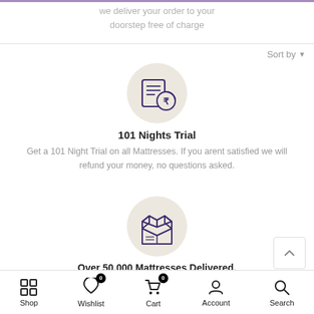we deliver your order to your doorstep free of charge
Sort by
[Figure (illustration): Rupee/refund icon inside a beige circle — 101 Nights Trial icon]
101 Nights Trial
Get a 101 Night Trial on all Mattresses. If you arent satisfied we will refund your money, no questions asked.
[Figure (illustration): Open box icon inside a beige circle — delivery/mattresses delivered icon]
Over 50,000 Mattresses Delivered.
Shop  Wishlist 0  Cart 0  Account  Search